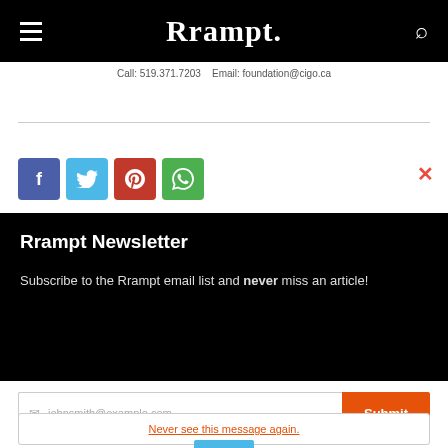Rrampt.
Call: 519.371.7203   Email: foundation@cigo.ca
[Figure (screenshot): Facebook Like button showing Like 0]
[Figure (infographic): Social share icons: Facebook, Twitter, Pinterest, WhatsApp]
Rrampt Newsletter
Subscribe to the Rrampt email list and never miss an article!
johnsmith@example.com  Submit
Never see this message again.